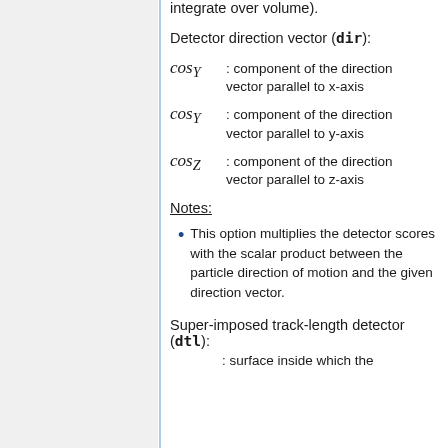integrate over volume).
Detector direction vector (dir):
: component of the direction vector parallel to x-axis
: component of the direction vector parallel to y-axis
: component of the direction vector parallel to z-axis
Notes:
This option multiplies the detector scores with the scalar product between the particle direction of motion and the given direction vector.
Super-imposed track-length detector (dtl):
: surface inside which the